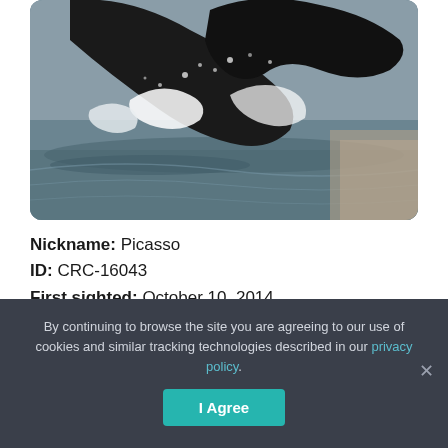[Figure (photo): A whale tail or fluke emerging from ocean water with splashing waves, dark body against grey-blue water.]
Nickname: Picasso
ID: CRC-16043
First sighted: October 10, 2014
All sightings:
https://happywhale.com/individual/4190
By continuing to browse the site you are agreeing to our use of cookies and similar tracking technologies described in our privacy policy.
I Agree